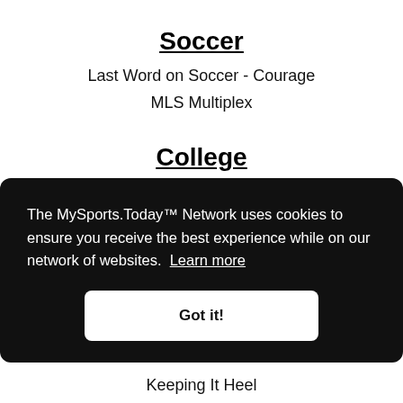Soccer
Last Word on Soccer - Courage
MLS Multiplex
College
Backing The Pack
Ball Durham
Blogger So Dear
Blue Devil Nation
Busting Brackets
The MySports.Today™ Network uses cookies to ensure you receive the best experience while on our network of websites. Learn more
Keeping It Heel